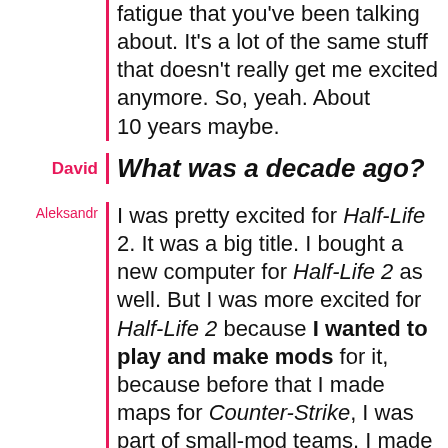fatigue that you've been talking about. It's a lot of the same stuff that doesn't really get me excited anymore. So, yeah. About 10 years maybe.
David | What was a decade ago?
Aleksandr | I was pretty excited for Half-Life 2. It was a big title. I bought a new computer for Half-Life 2 as well. But I was more excited for Half-Life 2 because I wanted to play and make mods for it, because before that I made maps for Counter-Strike, I was part of small-mod teams. I made mods for Half-Life, and I